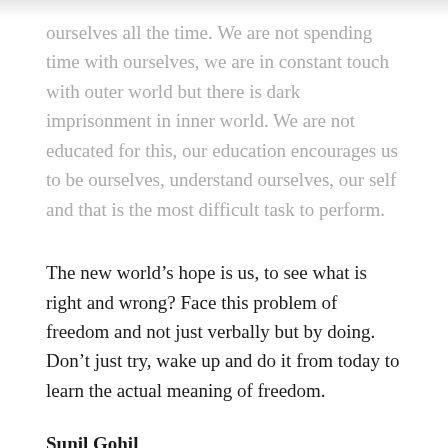ourselves all the time. We are not spending time with ourselves, we are in constant touch with outer world but there is dark imprisonment in inner world. We are not educated for this, our education encourages us to be ourselves, understand ourselves, our self and that is the most difficult task to perform.
The new world's hope is us, to see what is right and wrong? Face this problem of freedom and not just verbally but by doing. Don't just try, wake up and do it from today to learn the actual meaning of freedom.
Sunil Gohil